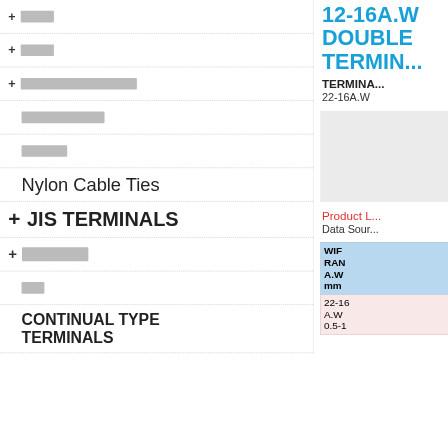□□□□
□□□□
□□□□□□□□□□□□□□
□□□□□□□□□□
□□□□□
Nylon Cable Ties
+ JIS TERMINALS
+ □□□□□□□
□□
CONTINUAL TYPE TERMINALS
12-16A.W DOUBLE TERMINALS
TERMINAL RANGE
22-16A.W
Product L...
Data Source
| WIRE RANGE A.W mm |
| --- |
| 22-16 A.W 0.5-1 |